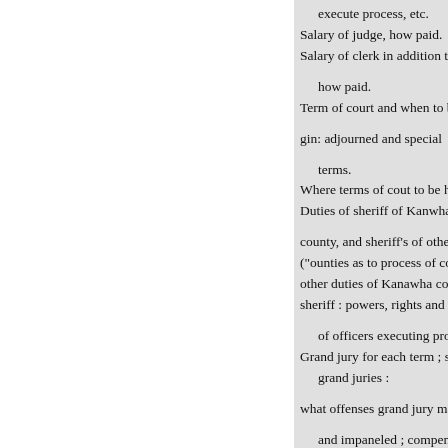execute process, etc.
Salary of judge, how paid.
Salary of clerk in addition to

how paid.
Term of court and when to b

gin: adjourned and special

terms.
Where terms of cout to be h
Duties of sheriff of Kanwha

county, and sheriff's of othe
("ounties as to process of co
other duties of Kanawha co
sheriff : powers, rights and

of officers executing proc
Grand jury for each term ; s
grand juries :

what offenses grand jury may co

and impaneled ; compensa